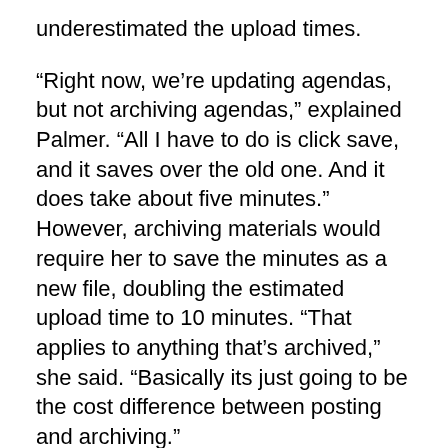underestimated the upload times.
“Right now, we’re updating agendas, but not archiving agendas,” explained Palmer. “All I have to do is click save, and it saves over the old one. And it does take about five minutes.” However, archiving materials would require her to save the minutes as a new file, doubling the estimated upload time to 10 minutes. “That applies to anything that’s archived,” she said. “Basically its just going to be the cost difference between posting and archiving.”
She added that changing Microsoft Word documents into Adobe PDF files is another time-consuming process, and it can takes